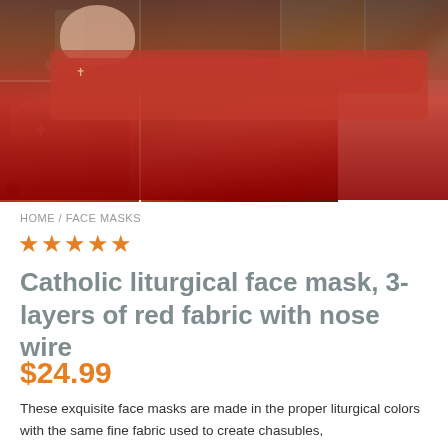[Figure (photo): Grid of product photos showing Catholic liturgical face masks in red fabric, a priest wearing the mask, and related liturgical items including candles and table settings]
HOME / FACE MASKS
★★★★★
Catholic liturgical face mask, 3-layers of red fabric with nose wire
$24.99
These exquisite face masks are made in the proper liturgical colors with the same fine fabric used to create chasubles,